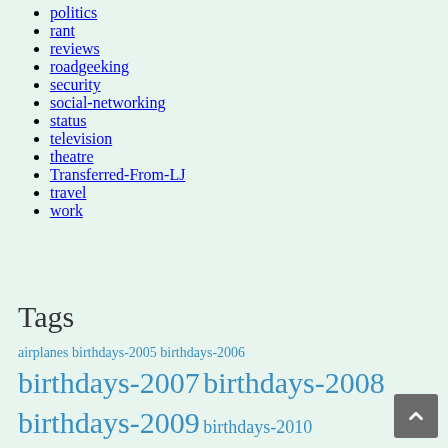politics
rant
reviews
roadgeeking
security
social-networking
status
television
theatre
Transferred-From-LJ
travel
work
Tags
airplanes birthdays-2005 birthdays-2006 birthdays-2007 birthdays-2008 birthdays-2009 birthdays-2010 corporate-america donna gaming grrrrr headache hollywood-fringe-festival